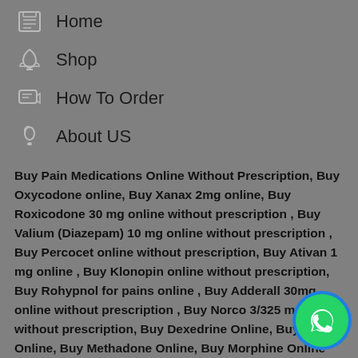Home
Shop
How To Order
About US
Buy Pain Medications Online Without Prescription, Buy Oxycodone online, Buy Xanax 2mg online, Buy Roxicodone 30 mg online without prescription , Buy Valium (Diazepam) 10 mg online without prescription , Buy Percocet online without prescription, Buy Ativan 1 mg online , Buy Klonopin online without prescription, Buy Rohypnol for pains online , Buy Adderall 30mg online without prescription , Buy Norco 3/325 mg online without prescription, Buy Dexedrine Online, Buy Molly Online, Buy Methadone Online, Buy Morphine Online
[Figure (logo): WhatsApp contact button icon, green circle with white phone/chat icon]